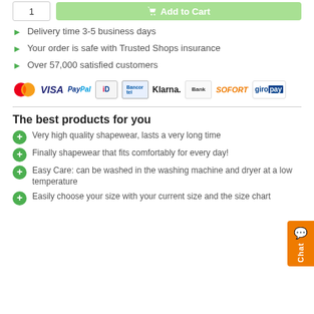[Figure (screenshot): Add to cart UI with quantity input box and green Add to Cart button]
Delivery time 3-5 business days
Your order is safe with Trusted Shops insurance
Over 57,000 satisfied customers
[Figure (logo): Payment method logos: Mastercard, VISA, PayPal, iD, IDEAL/MotorClub, Klarna, Bank, SOFORT, giropay]
The best products for you
Very high quality shapewear, lasts a very long time
Finally shapewear that fits comfortably for every day!
Easy Care: can be washed in the washing machine and dryer at a low temperature
Easily choose your size with your current size and the size chart